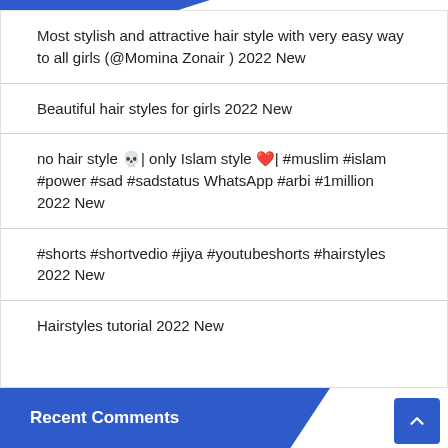Most stylish and attractive hair style with very easy way to all girls (@Momina Zonair ) 2022 New
Beautiful hair styles for girls 2022 New
no hair style 💀| only Islam style ❤️| #muslim #islam #power #sad #sadstatus WhatsApp #arbi #1million 2022 New
#shorts #shortvedio #jiya #youtubeshorts #hairstyles 2022 New
Hairstyles tutorial 2022 New
Recent Comments